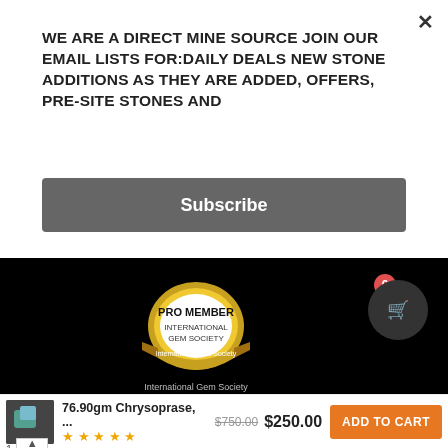WE ARE A DIRECT MINE SOURCE JOIN OUR EMAIL LISTS FOR:DAILY DEALS NEW STONE ADDITIONS AS THEY ARE ADDED, OFFERS, PRE-SITE STONES AND
Subscribe
[Figure (logo): Pro Member International Gem Society badge on black background with International Gem Society caption]
[Figure (screenshot): Payment method icons: Amex, Apple Pay, Bitcoin, green crypto coin, blue crypto coin, Ethereum, Google Pay, Litecoin, Maestro, Mastercard, PayPal, shield blue, VISA]
[Figure (logo): International Gem Society Ruby Specialist badge]
76.90gm Chrysoprase, ... $750.00 $250.00
ADD TO CART